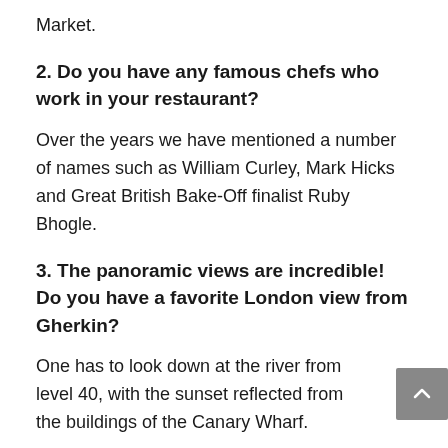Market.
2. Do you have any famous chefs who work in your restaurant?
Over the years we have mentioned a number of names such as William Curley, Mark Hicks and Great British Bake-Off finalist Ruby Bhogle.
3. The panoramic views are incredible! Do you have a favorite London view from Gherkin?
One has to look down at the river from level 40, with the sunset reflected from the buildings of the Canary Wharf.